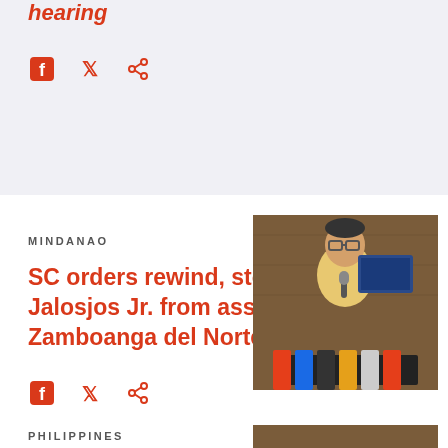hearing
[Figure (other): Social share icons: Facebook, Twitter, Share]
MINDANAO
SC orders rewind, stops Jalosjos Jr. from assuming Zamboanga del Norte post
[Figure (photo): Man in yellow shirt speaking at press conference with microphones]
[Figure (other): Social share icons: Facebook, Twitter, Share]
PHILIPPINES
[Figure (photo): Person at press conference, partially visible]